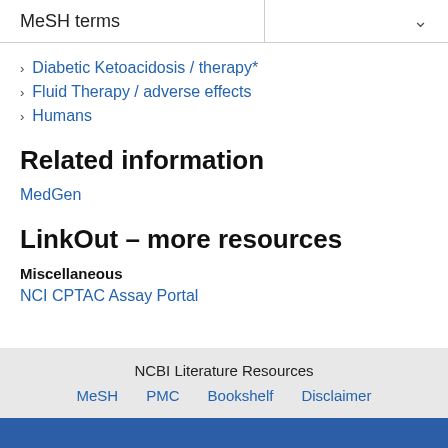MeSH terms
Diabetic Ketoacidosis / therapy*
Fluid Therapy / adverse effects
Humans
Related information
MedGen
LinkOut – more resources
Miscellaneous
NCI CPTAC Assay Portal
NCBI Literature Resources MeSH PMC Bookshelf Disclaimer